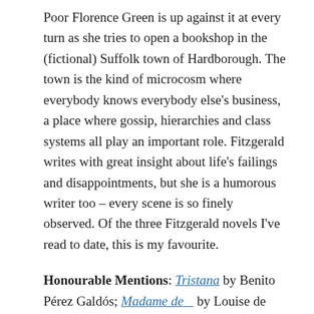Poor Florence Green is up against it at every turn as she tries to open a bookshop in the (fictional) Suffolk town of Hardborough. The town is the kind of microcosm where everybody knows everybody else's business, a place where gossip, hierarchies and class systems all play an important role. Fitzgerald writes with great insight about life's failings and disappointments, but she is a humorous writer too – every scene is so finely observed. Of the three Fitzgerald novels I've read to date, this is my favourite.
Honourable Mentions: Tristana by Benito Pérez Galdós; Madame de __ by Louise de Vilmorin; Agostino by Alberto Moravia.
Short Story Collection of the Year: Thus Were Their Faces by Silvina Ocampo (tr. Daniel Balderston)
I love the stories in this edition of forty-two pieces drawn from a lifetime of Ocampo's writing, the way they often